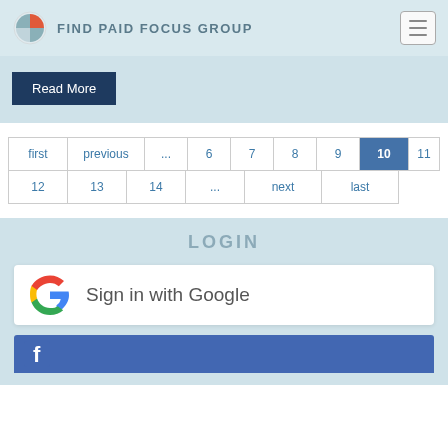FIND PAID FOCUS GROUP
Read More
first | previous | ... | 6 | 7 | 8 | 9 | 10 | 11 | 12 | 13 | 14 | ... | next | last
LOGIN
[Figure (logo): Sign in with Google button with Google G logo]
[Figure (logo): Facebook login button (partial, cropped at bottom)]